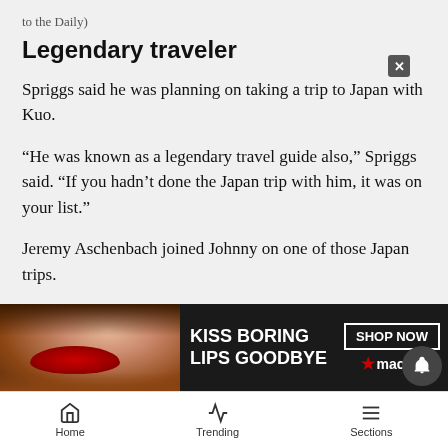to the Daily)
Legendary traveler
Spriggs said he was planning on taking a trip to Japan with Kuo.
“He was known as a legendary travel guide also,” Spriggs said. “If you hadn’t done the Japan trip with him, it was on your list.”
Jeremy Aschenbach joined Johnny on one of those Japan trips.
“We’d go to through the train station with all our skis and backpacks, he’d say stay here, and he would go find out where we need to go,” Aschenbach said. “He knew h... by him
[Figure (infographic): Advertisement banner for Macy’s lipstick: ‘KISS BORING LIPS GOODBYE’ with a photo of a woman with red lips and a SHOP NOW button with the Macy’s star logo]
Home | Trending | Sections